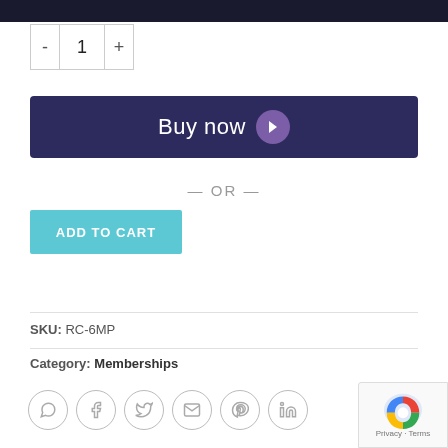[Figure (screenshot): Dark navigation bar at top of page]
[Figure (screenshot): Quantity selector with minus, 1, plus controls]
[Figure (screenshot): Buy now button with purple chevron icon, dark navy background]
— OR —
[Figure (screenshot): ADD TO CART button in cyan/teal color]
SKU: RC-6MP
Category: Memberships
[Figure (screenshot): Social sharing icons: WhatsApp, Facebook, Twitter, Email, Pinterest, LinkedIn]
[Figure (screenshot): reCAPTCHA badge with Privacy - Terms text]